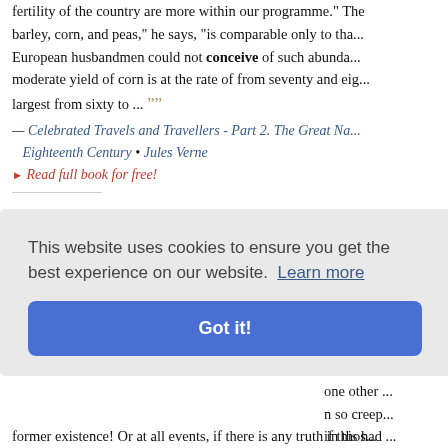fertility of the country are more within our programme." The barley, corn, and peas," he says, "is comparable only to tha... European husbandmen could not conceive of such abunda... moderate yield of corn is at the rate of from seventy and eig... largest from sixty to ... ””
— Celebrated Travels and Travellers - Part 2. The Great Na... Eighteenth Century • Jules Verne
▸ Read full book for free!
““ ... need to think," repeated Thurston later. "A creature tha... hideous brain, that can think an arm into existence—think a... wishes! What does a thing like that think of? What beastly th... that thing conceive?" ...
— Astounding Stories of Super-Science February 1930 • Va...
This website uses cookies to ensure you get the best experience on our website. Learn more
Got it!
with little fe... one other ... n so creep... if this had ... former existence! Or at all events, if there is any truth in thos...